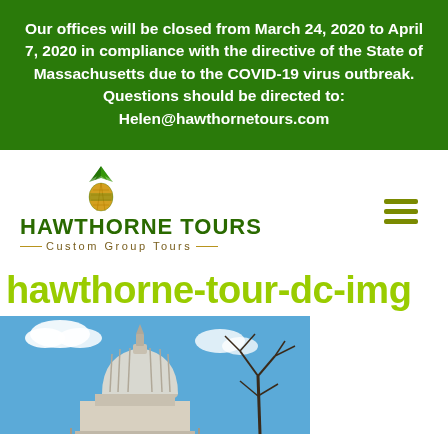Our offices will be closed from March 24, 2020 to April 7, 2020 in compliance with the directive of the State of Massachusetts due to the COVID-19 virus outbreak. Questions should be directed to: Helen@hawthornetours.com
[Figure (logo): Hawthorne Tours logo with pineapple icon, company name 'HAWTHORNE TOURS' in green, and tagline 'Custom Group Tours']
hawthorne-tour-dc-img
[Figure (photo): Photo of the US Capitol dome against a blue sky with bare tree branches visible]